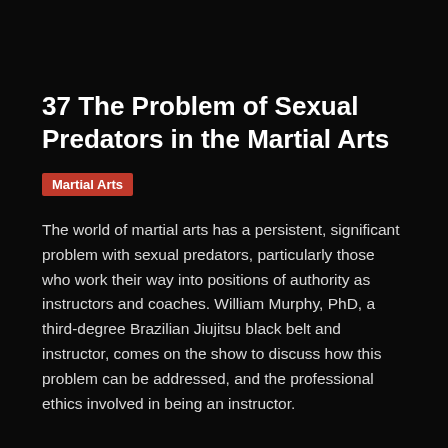37 The Problem of Sexual Predators in the Martial Arts
Martial Arts
The world of martial arts has a persistent, significant problem with sexual predators, particularly those who work their way into positions of authority as instructors and coaches. William Murphy, PhD, a third-degree Brazilian Jiujitsu black belt and instructor, comes on the show to discuss how this problem can be addressed, and the professional ethics involved in being an instructor.